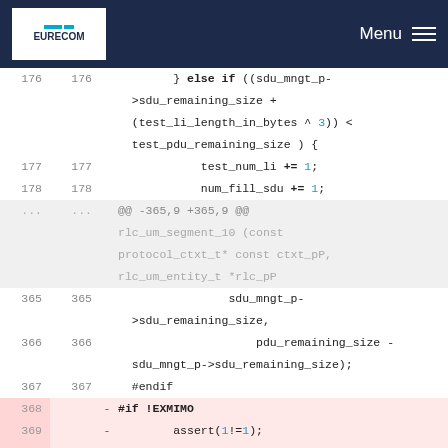EURECOM | Menu
Code diff view showing lines 176-370 of a C source file with diff markers for deleted and added lines.